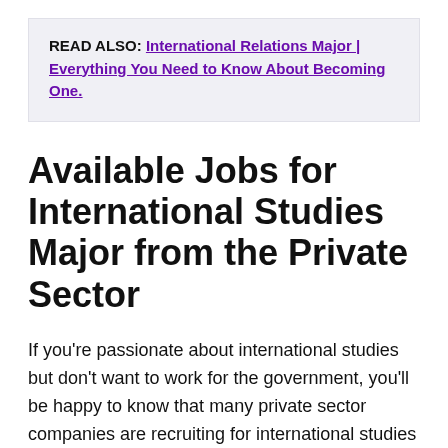READ ALSO: International Relations Major | Everything You Need to Know About Becoming One.
Available Jobs for International Studies Major from the Private Sector
If you're passionate about international studies but don't want to work for the government, you'll be happy to know that many private sector companies are recruiting for international studies graduates.